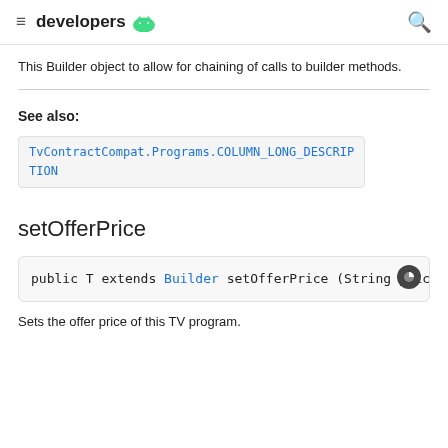developers
This Builder object to allow for chaining of calls to builder methods.
See also:
TvContractCompat.Programs.COLUMN_LONG_DESCRIPTION
setOfferPrice
public T extends Builder setOfferPrice (String price
Sets the offer price of this TV program.